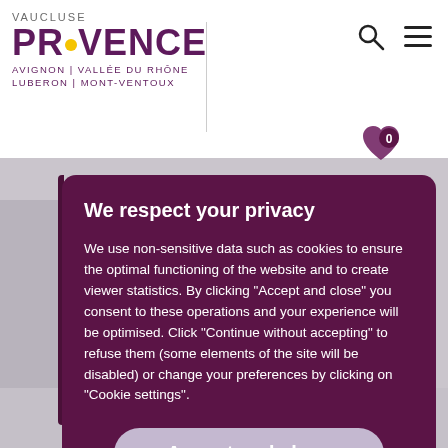[Figure (screenshot): Vaucluse Provence tourism website header with logo, search icon, and hamburger menu. Background shows a partial map. A cookie/privacy consent modal overlay is displayed.]
We respect your privacy
We use non-sensitive data such as cookies to ensure the optimal functioning of the website and to create viewer statistics. By clicking "Accept and close" you consent to these operations and your experience will be optimised. Click "Continue without accepting" to refuse them (some elements of the site will be disabled) or change your preferences by clicking on "Cookie settings".